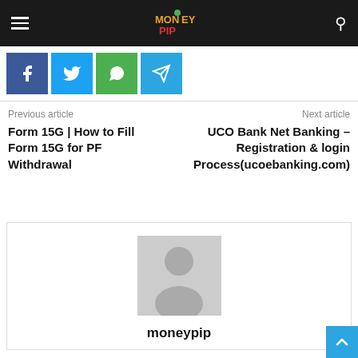MoneyPip navigation bar with hamburger menu, MoneyPip logo, and search icon
[Figure (infographic): Social share buttons row: Facebook (blue), Twitter (light blue), WhatsApp (green), Telegram (blue)]
Previous article
Form 15G | How to Fill Form 15G for PF Withdrawal
Next article
UCO Bank Net Banking – Registration & login Process(ucoebanking.com)
[Figure (photo): Default avatar placeholder image (grey background with silhouette)]
moneypip